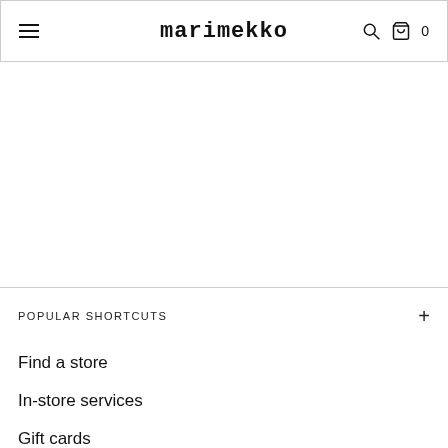marimekko
POPULAR SHORTCUTS
Find a store
In-store services
Gift cards
Care guide
Sustainability